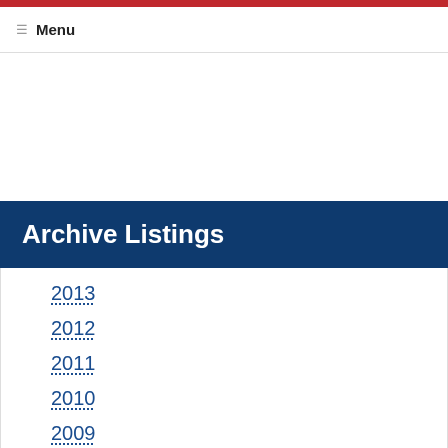Menu
Archive Listings
2013
2012
2011
2010
2009
2008